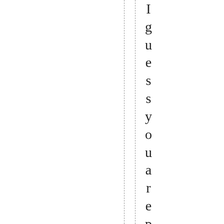I guess you are pretty busy at the mom